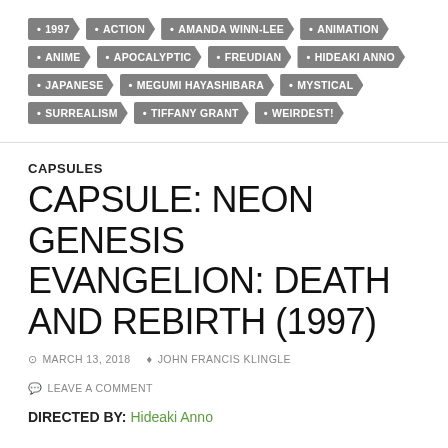1997
ACTION
AMANDA WINN-LEE
ANIMATION
ANIME
APOCALYPTIC
FREUDIAN
HIDEAKI ANNO
JAPANESE
MEGUMI HAYASHIBARA
MYSTICAL
SURREALISM
TIFFANY GRANT
WEIRDEST!
CAPSULES
CAPSULE: NEON GENESIS EVANGELION: DEATH AND REBIRTH (1997)
MARCH 13, 2018  JOHN FRANCIS KLINGLE  LEAVE A COMMENT
DIRECTED BY: Hideaki Anno